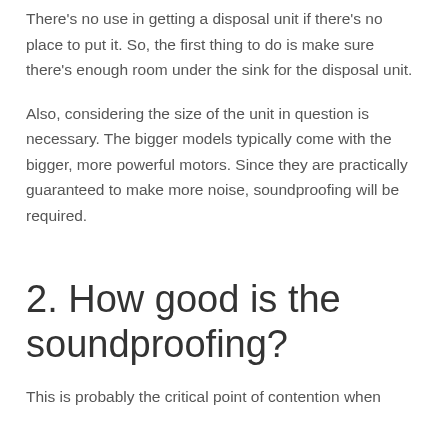There's no use in getting a disposal unit if there's no place to put it. So, the first thing to do is make sure there's enough room under the sink for the disposal unit.
Also, considering the size of the unit in question is necessary. The bigger models typically come with the bigger, more powerful motors. Since they are practically guaranteed to make more noise, soundproofing will be required.
2. How good is the soundproofing?
This is probably the critical point of contention when